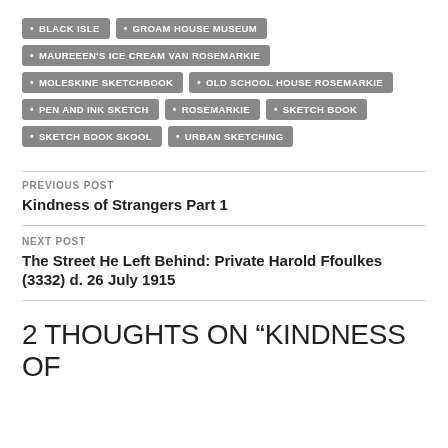BLACK ISLE
GROAM HOUSE MUSEUM
MAUREEEN'S ICE CREAM VAN ROSEMARKIE
MOLESKINE SKETCHBOOK
OLD SCHOOL HOUSE ROSEMARKIE
PEN AND INK SKETCH
ROSEMARKIE
SKETCH BOOK
SKETCH BOOK SKOOL
URBAN SKETCHING
PREVIOUS POST
Kindness of Strangers Part 1
NEXT POST
The Street He Left Behind: Private Harold Ffoulkes (3332) d. 26 July 1915
2 THOUGHTS ON “KINDNESS OF